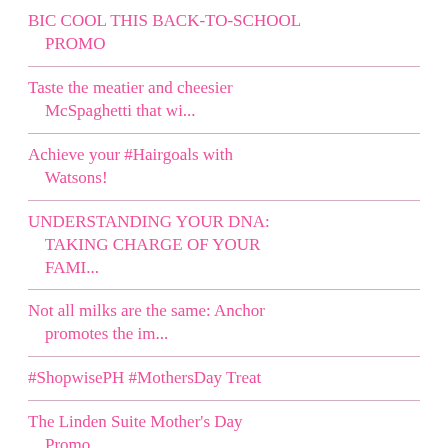BIC COOL THIS BACK-TO-SCHOOL PROMO
Taste the meatier and cheesier McSpaghetti that wi...
Achieve your #Hairgoals with Watsons!
UNDERSTANDING YOUR DNA: TAKING CHARGE OF YOUR FAMI...
Not all milks are the same: Anchor promotes the im...
#ShopwisePH #MothersDay Treat
The Linden Suite Mother's Day Promo